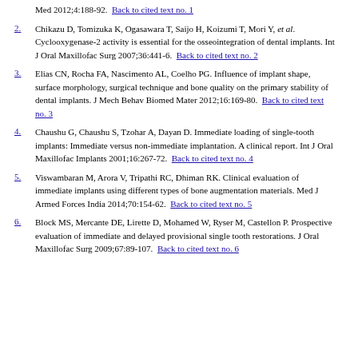Med 2012;4:188-92. Back to cited text no. 1
2. Chikazu D, Tomizuka K, Ogasawara T, Saijo H, Koizumi T, Mori Y, et al. Cyclooxygenase-2 activity is essential for the osseointegration of dental implants. Int J Oral Maxillofac Surg 2007;36:441-6. Back to cited text no. 2
3. Elias CN, Rocha FA, Nascimento AL, Coelho PG. Influence of implant shape, surface morphology, surgical technique and bone quality on the primary stability of dental implants. J Mech Behav Biomed Mater 2012;16:169-80. Back to cited text no. 3
4. Chaushu G, Chaushu S, Tzohar A, Dayan D. Immediate loading of single-tooth implants: Immediate versus non-immediate implantation. A clinical report. Int J Oral Maxillofac Implants 2001;16:267-72. Back to cited text no. 4
5. Viswambaran M, Arora V, Tripathi RC, Dhiman RK. Clinical evaluation of immediate implants using different types of bone augmentation materials. Med J Armed Forces India 2014;70:154-62. Back to cited text no. 5
6. Block MS, Mercante DE, Lirette D, Mohamed W, Ryser M, Castellon P. Prospective evaluation of immediate and delayed provisional single tooth restorations. J Oral Maxillofac Surg 2009;67:89-107. Back to cited text no. 6